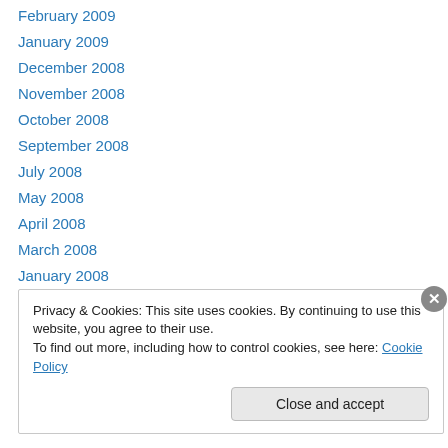February 2009
January 2009
December 2008
November 2008
October 2008
September 2008
July 2008
May 2008
April 2008
March 2008
January 2008
December 2007
Privacy & Cookies: This site uses cookies. By continuing to use this website, you agree to their use. To find out more, including how to control cookies, see here: Cookie Policy
Close and accept